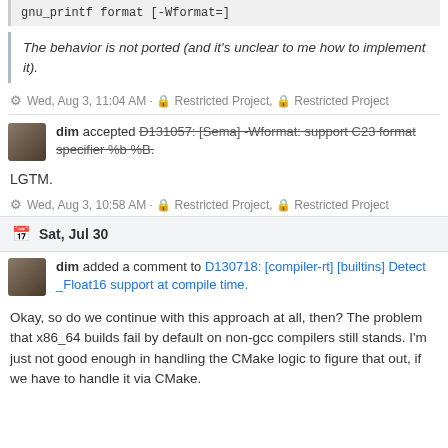gnu_printf format [-Wformat=]
The behavior is not ported (and it's unclear to me how to implement it).
Wed, Aug 3, 11:04 AM · Restricted Project, Restricted Project
dim accepted D131057: [Sema] -Wformat: support C23 format specifier %b %B.
LGTM.
Wed, Aug 3, 10:58 AM · Restricted Project, Restricted Project
Sat, Jul 30
dim added a comment to D130718: [compiler-rt] [builtins] Detect _Float16 support at compile time.
Okay, so do we continue with this approach at all, then? The problem that x86_64 builds fail by default on non-gcc compilers still stands. I'm just not good enough in handling the CMake logic to figure that out, if we have to handle it via CMake.